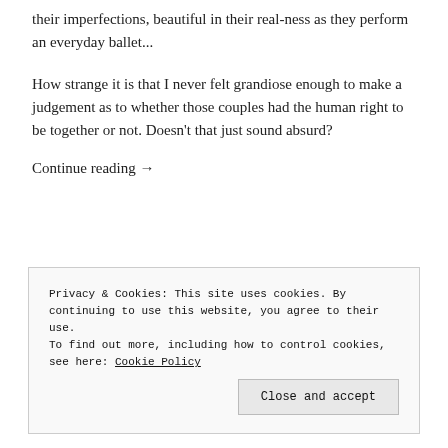their imperfections, beautiful in their real-ness as they perform an everyday ballet...
How strange it is that I never felt grandiose enough to make a judgement as to whether those couples had the human right to be together or not. Doesn't that just sound absurd?
Continue reading →
Privacy & Cookies: This site uses cookies. By continuing to use this website, you agree to their use.
To find out more, including how to control cookies, see here: Cookie Policy
Close and accept